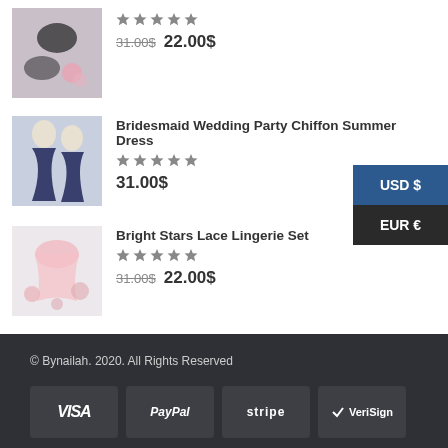[Figure (photo): Partial product image of lingerie set at top]
★★★★★
31.00$ 22.00$
Bridesmaid Wedding Party Chiffon Summer Dress
★★★★★
31.00$
USD $
EUR €
Bright Stars Lace Lingerie Set
★★★★★
31.00$ 22.00$
© Bynailah. 2020. All Rights Reserved VISA PayPal stripe VeriSign